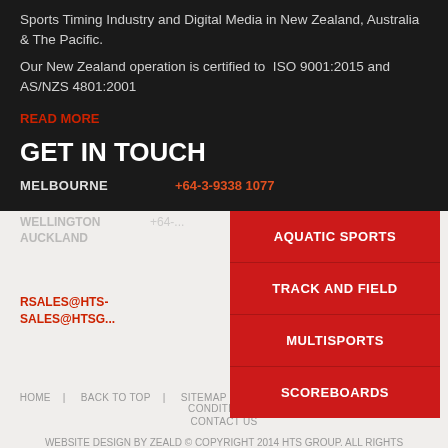Sports Timing Industry and Digital Media in New Zealand, Australia & The Pacific. Our New Zealand operation is certified to ISO 9001:2015 and AS/NZS 4801:2001
READ MORE
GET IN TOUCH
MELBOURNE   +64-3-9338 1077
WELLINGTON   +64-...
AUCKLAND
RSALES@HTS-
SALES@HTSG...
[Figure (infographic): Red navigation menu overlay with four buttons: AQUATIC SPORTS, TRACK AND FIELD, MULTISPORTS, SCOREBOARDS]
HOME   BACK TO TOP   SITEMAP   PRIVACY POLICY   TERMS AND CONDITIONS   CONTACT US
WEBSITE DESIGN BY ZEALD © COPYRIGHT 2014 HTS GROUP. ALL RIGHTS RESERVED.